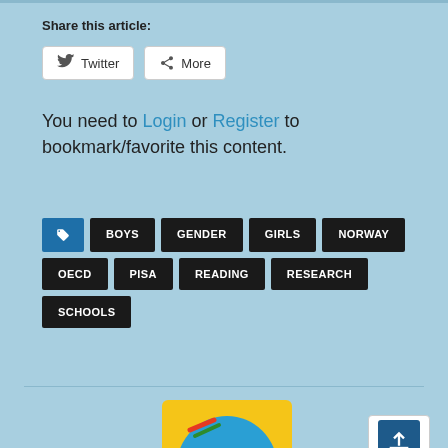Share this article:
[Figure (screenshot): Twitter and More share buttons]
You need to Login or Register to bookmark/favorite this content.
BOYS
GENDER
GIRLS
NORWAY
OECD
PISA
READING
RESEARCH
SCHOOLS
[Figure (logo): UKEdChat logo - yellow background with blue speech bubble]
[Figure (screenshot): Scroll to top button with video camera icon]